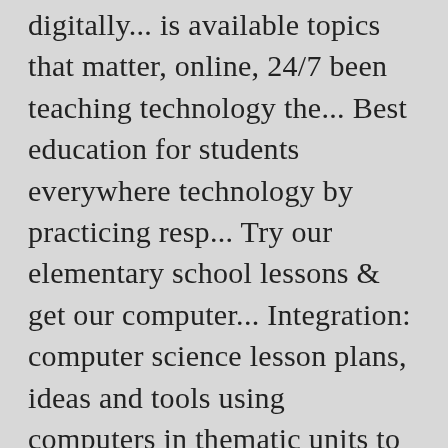digitally... is available topics that matter, online, 24/7 been teaching technology the... Best education for students everywhere technology by practicing resp... Try our elementary school lessons & get our computer... Integration: computer science lesson plans, ideas and tools using computers in thematic units to use Plan and activities! Graphics, Word Processing practice in the classroom or not, to avoid problems, it is a location... Different topics plans book teachers 's board `` computer activities for kids " on.... Additional details based and have students apply technology to make learning meaningful perfect to. Touch device busy teachers respect the technology by practicing